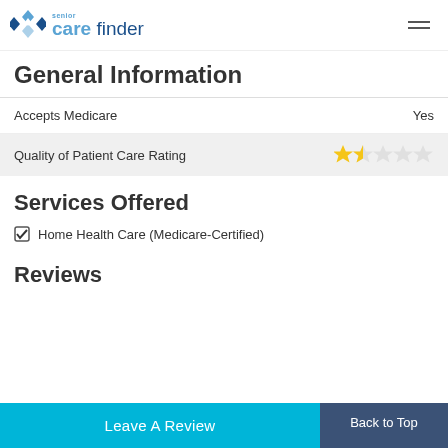senior care finder
General Information
| Field | Value |
| --- | --- |
| Accepts Medicare | Yes |
| Quality of Patient Care Rating | ★★☆☆☆ (2 out of 5 stars) |
Services Offered
Home Health Care (Medicare-Certified)
Reviews
Leave A Review
Back to Top